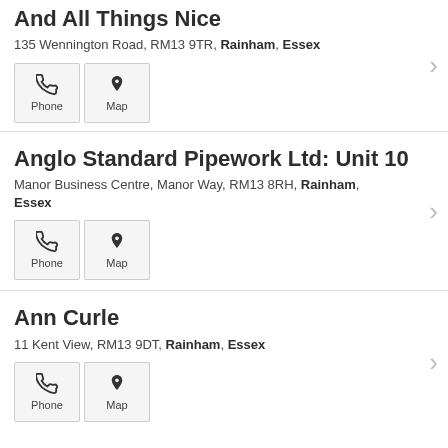And All Things Nice
135 Wennington Road, RM13 9TR, Rainham, Essex
Anglo Standard Pipework Ltd: Unit 10
Manor Business Centre, Manor Way, RM13 8RH, Rainham, Essex
Ann Curle
11 Kent View, RM13 9DT, Rainham, Essex